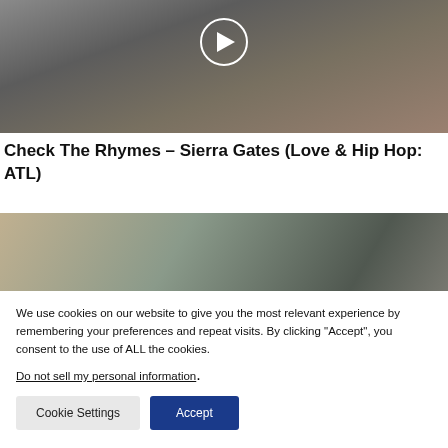[Figure (photo): A person in a grey outfit crouching or stretching outdoors, with a circular play button overlay indicating a video thumbnail.]
Check The Rhymes – Sierra Gates (Love & Hip Hop: ATL)
[Figure (photo): A person raising their hand near their face, partially visible, appears to be another video thumbnail.]
We use cookies on our website to give you the most relevant experience by remembering your preferences and repeat visits. By clicking "Accept", you consent to the use of ALL the cookies.
Do not sell my personal information.
Cookie Settings   Accept